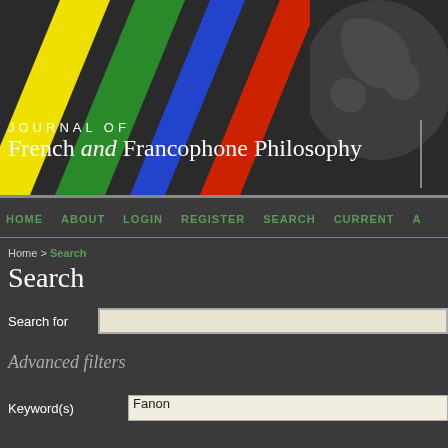[Figure (screenshot): Website header banner with diagonal colored stripes (yellow, green, blue, red) on dark background with globe silhouette]
JOURNAL OF French and Francophone Philosophy
HOME   ABOUT   LOGIN   REGISTER   SEARCH   CURRENT   A
Home > Search
Search
Search for
Advanced filters
Keyword(s)   Fanon